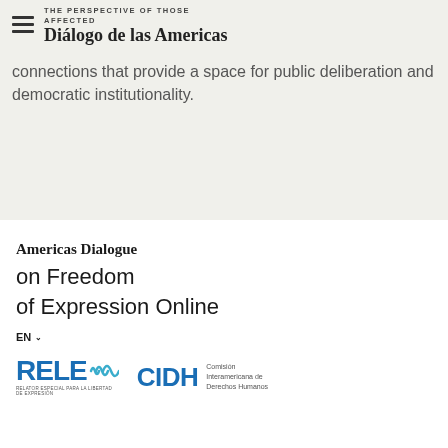THE PERSPECTIVE OF THOSE AFFECTED
Diálogo de las Americas
connections that provide a space for public deliberation and democratic institutionality.
Americas Dialogue
on Freedom of Expression Online
EN
[Figure (logo): RELE logo with sound wave icon and tagline text]
[Figure (logo): CIDH - Comisión Interamericana de Derechos Humanos logo]